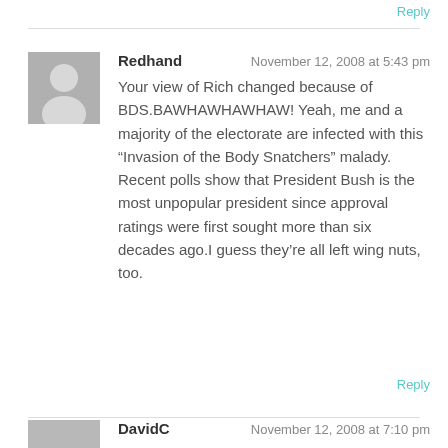Reply
Redhand   November 12, 2008 at 5:43 pm
Your view of Rich changed because of BDS.BAWHAWHAW HAW! Yeah, me and a majority of the electorate are infected with this “Invasion of the Body Snatchers” malady. Recent polls show that President Bush is the most unpopular president since approval ratings were first sought more than six decades ago.I guess they’re all left wing nuts, too.
Reply
DavidC   November 12, 2008 at 7:10 pm